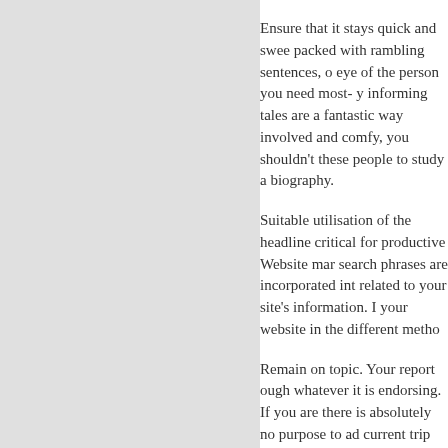Ensure that it stays quick and swee packed with rambling sentences, o eye of the person you need most- y informing tales are a fantastic way involved and comfy, you shouldn't these people to study a biography.
Suitable utilisation of the headline critical for productive Website mar search phrases are incorporated int related to your site's information. I your website in the different metho
Remain on topic. Your report ough whatever it is endorsing. If you are there is absolutely no purpose to ad current trip for the Bahamas. Follo match the subject, so be sure to do
In pussy888 , apart from great hea market, you have to have fantastic warn the viewers to each the topic should read through it. Try out reta remarkable, just don't go overboar
Switch off your term add up with y be able to concentrate on your co